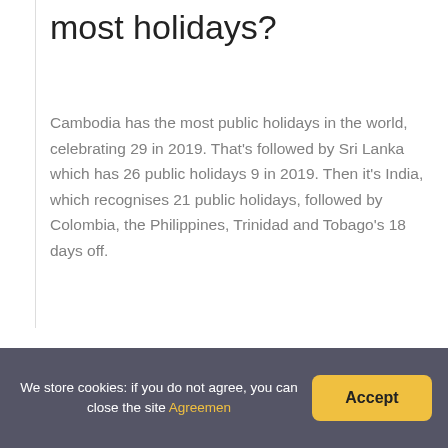most holidays?
Cambodia has the most public holidays in the world, celebrating 29 in 2019. That's followed by Sri Lanka which has 26 public holidays 9 in 2019. Then it's India, which recognises 21 public holidays, followed by Colombia, the Philippines, Trinidad and Tobago's 18 days off.
Leave a Reply
Your email address will not be published. Required
We store cookies: if you do not agree, you can close the site Agreemen